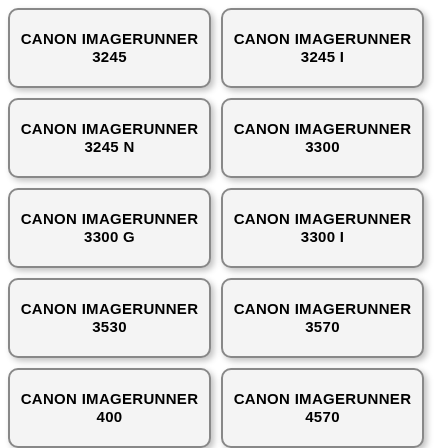CANON IMAGERUNNER 3245
CANON IMAGERUNNER 3245 I
CANON IMAGERUNNER 3245 N
CANON IMAGERUNNER 3300
CANON IMAGERUNNER 3300 G
CANON IMAGERUNNER 3300 I
CANON IMAGERUNNER 3530
CANON IMAGERUNNER 3570
CANON IMAGERUNNER 400
CANON IMAGERUNNER 4570